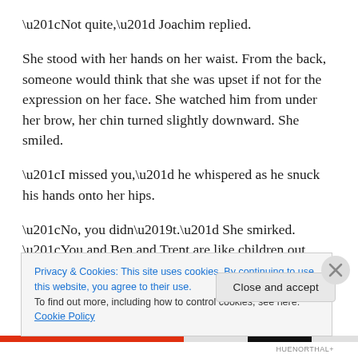“Not quite,” Joachim replied.
She stood with her hands on her waist. From the back, someone would think that she was upset if not for the expression on her face. She watched him from under her brow, her chin turned slightly downward. She smiled.
“I missed you,” he whispered as he snuck his hands onto her hips.
“No, you didn’t.” She smirked. “You and Ben and Trent are like children out there—like young boys. And the jungle is
Privacy & Cookies: This site uses cookies. By continuing to use this website, you agree to their use.
To find out more, including how to control cookies, see here: Cookie Policy
Close and accept